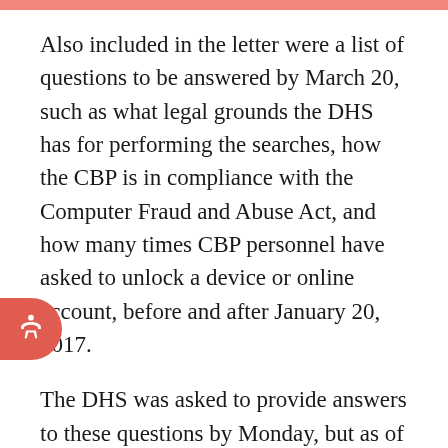Also included in the letter were a list of questions to be answered by March 20, such as what legal grounds the DHS has for performing the searches, how the CBP is in compliance with the Computer Fraud and Abuse Act, and how many times CBP personnel have asked to unlock a device or online account, before and after January 20, 2017.
The DHS was asked to provide answers to these questions by Monday, but as of Wednesday the DHS has not given an answer. Senator Wyden has said he could introduce the legislation as early as this week, although it is likely he will wait a little longer for a DHS response.
Once he does introduce the legislation, he will